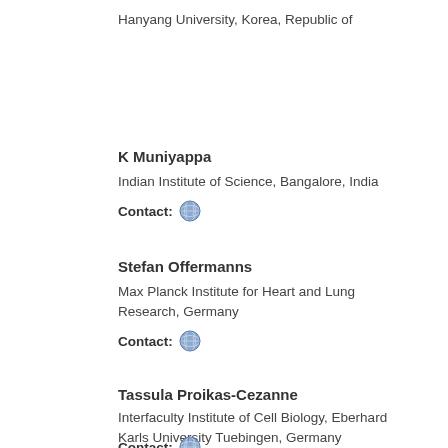Hanyang University, Korea, Republic of
K Muniyappa
Indian Institute of Science, Bangalore, India
Contact:
Stefan Offermanns
Max Planck Institute for Heart and Lung Research, Germany
Contact:
Tassula Proikas-Cezanne
Interfaculty Institute of Cell Biology, Eberhard Karls University Tuebingen, Germany
Contact: